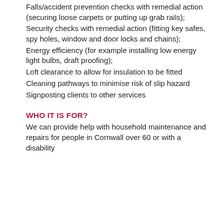Falls/accident prevention checks with remedial action (securing loose carpets or putting up grab rails);
Security checks with remedial action (fitting key safes, spy holes, window and door locks and chains);
Energy efficiency (for example installing low energy light bulbs, draft proofing);
Loft clearance to allow for insulation to be fitted
Cleaning pathways to minimise risk of slip hazard
Signposting clients to other services
WHO IT IS FOR?
We can provide help with household maintenance and repairs for people in Cornwall over 60 or with a disability